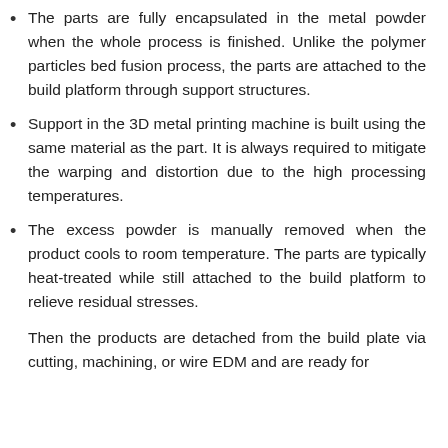The parts are fully encapsulated in the metal powder when the whole process is finished. Unlike the polymer particles bed fusion process, the parts are attached to the build platform through support structures.
Support in the 3D metal printing machine is built using the same material as the part. It is always required to mitigate the warping and distortion due to the high processing temperatures.
The excess powder is manually removed when the product cools to room temperature. The parts are typically heat-treated while still attached to the build platform to relieve residual stresses.
Then the products are detached from the build plate via cutting, machining, or wire EDM and are ready for